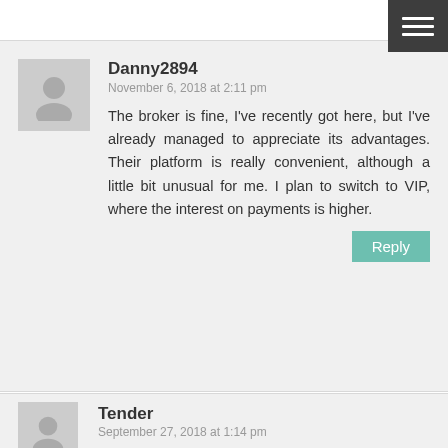Danny2894
November 6, 2018 at 2:11 pm
The broker is fine, I've recently got here, but I've already managed to appreciate its advantages. Their platform is really convenient, although a little bit unusual for me. I plan to switch to VIP, where the interest on payments is higher.
Reply
Tender
September 27, 2018 at 1:14 pm
The trading platform is cool indeed. Any actions are extremely convenient. Those, who prefer trading consciously, can conduct a technical analysis and trade options according to their